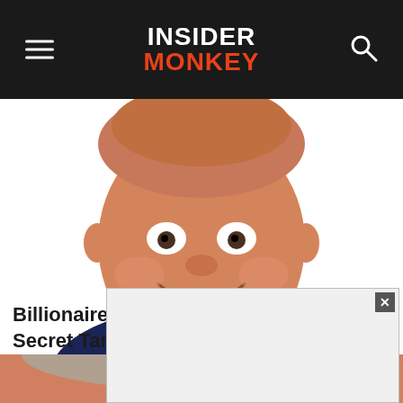INSIDER MONKEY
[Figure (illustration): Caricature illustration of a smiling man in a dark suit with a blue tie, cropped to show face and upper torso.]
Billionaire Nelson Peltz's New Big Secret Target
[Figure (illustration): Caricature illustration of an older man wearing round glasses, cropped to show face, partially overlapped by an advertisement overlay.]
[Figure (screenshot): Advertisement overlay box with close (x) button in the top-right corner, shown at the bottom of the page.]